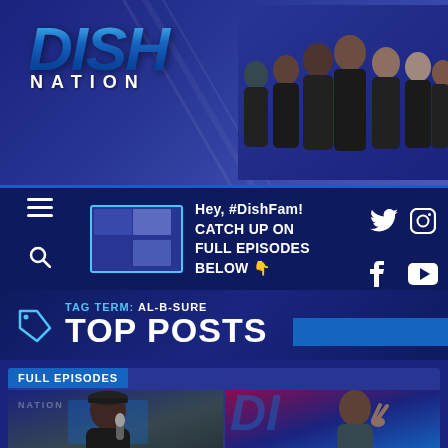[Figure (screenshot): Dish Nation website header with logo, cast photo, navigation bar with social icons, tag term AL-B-SURE Top Posts section, and Full Episodes card with two thumbnails of show hosts]
DISH NATION
Hey, #DishFam! CATCH UP ON FULL EPISODES BELOW 👇
TAG TERM: AL-B-SURE
TOP POSTS
FULL EPISODES